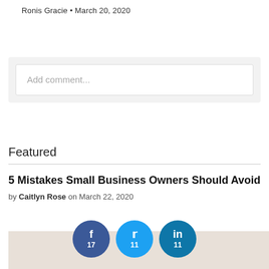Ronis Gracie • March 20, 2020
Add comment...
Featured
5 Mistakes Small Business Owners Should Avoid
by Caitlyn Rose on March 22, 2020
[Figure (infographic): Social share buttons: Facebook (17), Twitter (11), LinkedIn (11)]